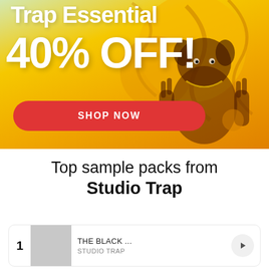[Figure (illustration): Promotional banner with yellow/orange gradient background, illustrated dog character making peace signs, stylized graffiti swirls. Text overlay: 'Trap Essential 40% OFF!' with a red 'SHOP NOW' button.]
Top sample packs from Studio Trap
THE BLACK ...
STUDIO TRAP